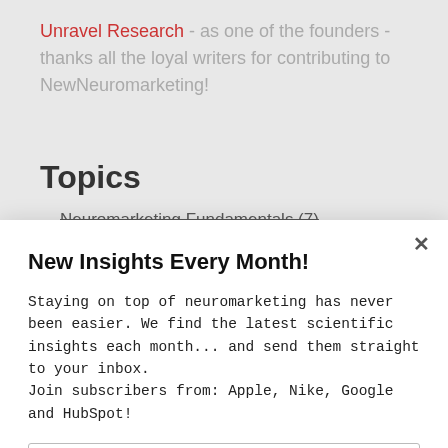Unravel Research - as one of the founders - thanks all the loyal writers for contributing to NewNeuromarketing!
Topics
Neuromarketing Fundamentals (7)
New Insights Every Month!
Staying on top of neuromarketing has never been easier. We find the latest scientific insights each month... and send them straight to your inbox. Join subscribers from: Apple, Nike, Google and HubSpot!
Enter your email address
Keep me posted